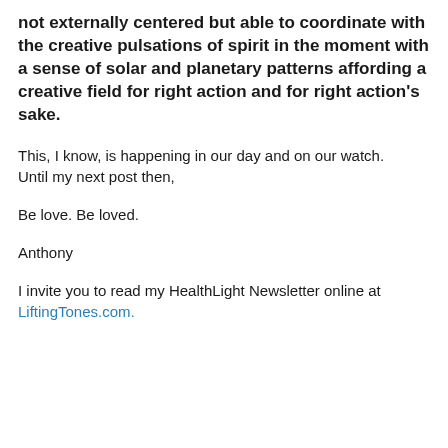not externally centered but able to coordinate with the creative pulsations of spirit in the moment with a sense of solar and planetary patterns affording a creative field for right action and for right action's sake.
This, I know, is happening in our day and on our watch. Until my next post then,
Be love. Be loved.
Anthony
I invite you to read my HealthLight Newsletter online at LiftingTones.com.